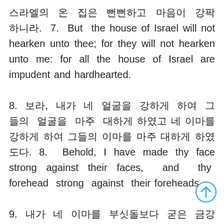스라엘의 온 집은 뻔뻔하고 마음이 강팍하니라. 7. But the house of Israel will not hearken unto thee; for they will not hearken unto me: for all the house of Israel are impudent and hardhearted.
8. 보라, 내가 네 얼굴을 강하게 하여 그들의 얼굴을 마주 대하게 하였고 네 이마를 강하게 하여 그들의 이마를 마주 대하게 하였도다. 8. Behold, I have made thy face strong against their faces, and thy forehead strong against their foreheads.
9. 내가 네 이마를 부싯돌보다 굳은 금강석 같게 하였으니 그들이 비록 반역하는 집이라 할지라도 그들을 두려워하지 말며 그들의 모습에 놀라지 말라, 하시니라. 9. As an adamant harder than flint have I made thy forehead: fear them not, neither be dismayed at their looks, though they be a rebellious house.
10. 또 그분께서 내게 이르시되, 사람의 아들아, 내가 네게 이르...